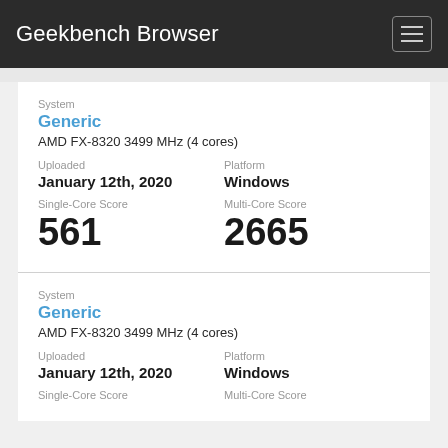Geekbench Browser
System
Generic
AMD FX-8320 3499 MHz (4 cores)
Uploaded
January 12th, 2020
Platform
Windows
Single-Core Score
561
Multi-Core Score
2665
System
Generic
AMD FX-8320 3499 MHz (4 cores)
Uploaded
January 12th, 2020
Platform
Windows
Single-Core Score
Multi-Core Score